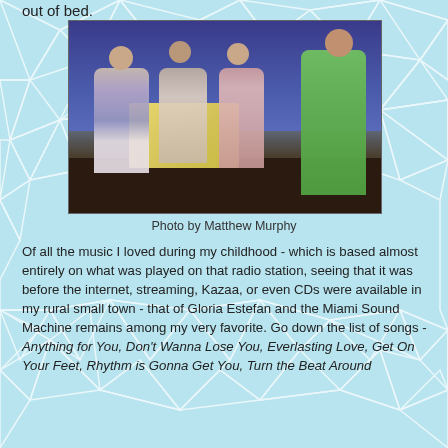out of bed.
[Figure (photo): Four women on a theatrical stage set. Three women sit at a table with a yellow floral tablecloth; one wears a light blue dress, one wears a striped top, one wears a pink top. A fourth woman stands to the right wearing a bright green dress with hands on hips.]
Photo by Matthew Murphy
Of all the music I loved during my childhood - which is based almost entirely on what was played on that radio station, seeing that it was before the internet, streaming, Kazaa, or even CDs were available in my rural small town - that of Gloria Estefan and the Miami Sound Machine remains among my very favorite. Go down the list of songs - Anything for You, Don't Wanna Lose You, Everlasting Love, Get On Your Feet, Rhythm is Gonna Get You, Turn the Beat Around